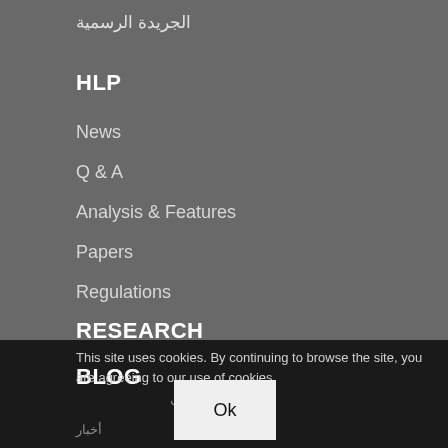الجريدة الرسمية
HLP
News
Q & A
Analysis & Features
Papers
Regulations
RESEARCH
BLOG
This site uses cookies. By continuing to browse the site, you are agreeing to our use of cookies.
اقتصاد والممتلكات
أخبار